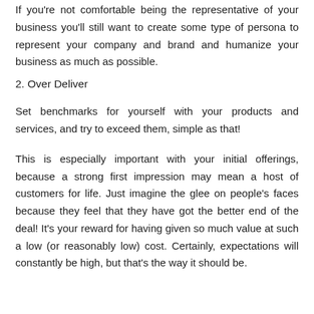If you're not comfortable being the representative of your business you'll still want to create some type of persona to represent your company and brand and humanize your business as much as possible.
2. Over Deliver
Set benchmarks for yourself with your products and services, and try to exceed them, simple as that!
This is especially important with your initial offerings, because a strong first impression may mean a host of customers for life. Just imagine the glee on people's faces because they feel that they have got the better end of the deal! It's your reward for having given so much value at such a low (or reasonably low) cost. Certainly, expectations will constantly be high, but that's the way it should be.